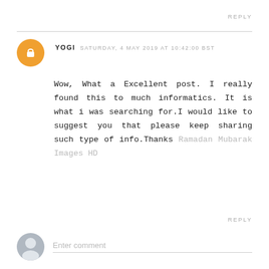REPLY
YOGI  SATURDAY, 4 MAY 2019 AT 10:42:00 BST
Wow, What a Excellent post. I really found this to much informatics. It is what i was searching for.I would like to suggest you that please keep sharing such type of info.Thanks Ramadan Mubarak Images HD
REPLY
Enter comment